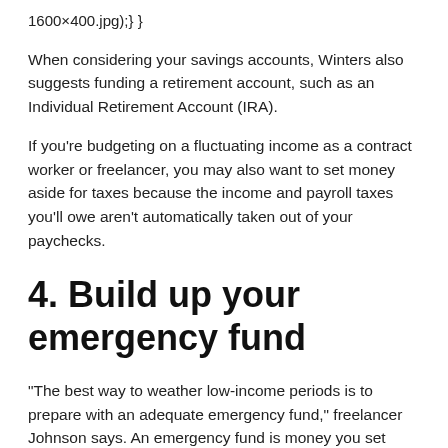1600×400.jpg);} }
When considering your savings accounts, Winters also suggests funding a retirement account, such as an Individual Retirement Account (IRA).
If you're budgeting on a fluctuating income as a contract worker or freelancer, you may also want to set money aside for taxes because the income and payroll taxes you'll owe aren't automatically taken out of your paychecks.
4. Build up your emergency fund
“The best way to weather low-income periods is to prepare with an adequate emergency fund,” freelancer Johnson says. An emergency fund is money you set aside for necessary expenses during an emergency, such as a medical issue or broken-